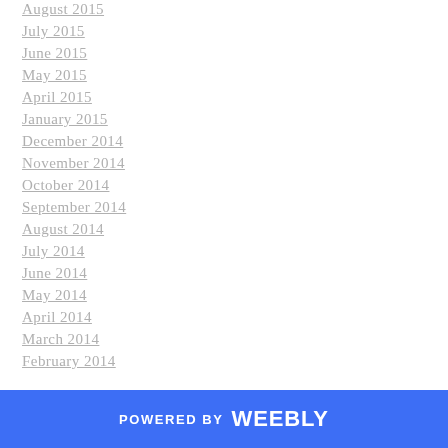August 2015
July 2015
June 2015
May 2015
April 2015
January 2015
December 2014
November 2014
October 2014
September 2014
August 2014
July 2014
June 2014
May 2014
April 2014
March 2014
February 2014
POWERED BY weebly